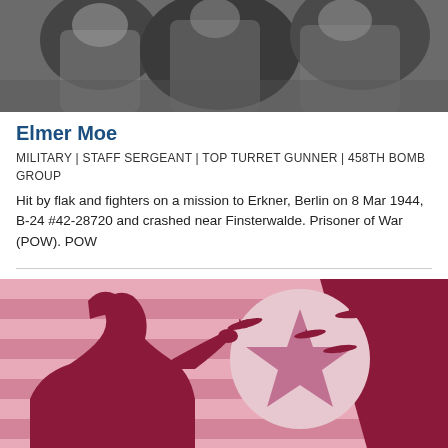[Figure (photo): Black and white photograph of military personnel, cropped to show upper portion]
Elmer Moe
MILITARY | STAFF SERGEANT | TOP TURRET GUNNER | 458TH BOMB GROUP
Hit by flak and fighters on a mission to Erkner, Berlin on 8 Mar 1944, B-24 #42-28720 and crashed near Finsterwalde. Prisoner of War (POW). POW
[Figure (illustration): Illustrated graphic showing a silhouette of a saluting soldier in dark red/maroon against a stylized American flag background with stripes and a star circle, with bomber aircraft silhouettes flying overhead]